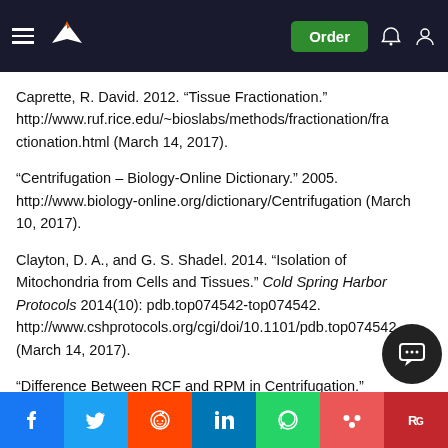Header navigation bar with logo, Order button, notification and user icons
Caprette, R. David. 2012. “Tissue Fractionation.” http://www.ruf.rice.edu/~bioslabs/methods/fractionation/fractionation.html (March 14, 2017).
“Centrifugation – Biology-Online Dictionary.” 2005. http://www.biology-online.org/dictionary/Centrifugation (March 10, 2017).
Clayton, D. A., and G. S. Shadel. 2014. “Isolation of Mitochondria from Cells and Tissues.” Cold Spring Harbor Protocols 2014(10): pdb.top074542-top074542. http://www.cshprotocols.org/cgi/doi/10.1101/pdb.top074542 (March 14, 2017).
“Difference Between RCF and RPM in Centrifugation.” http://www.westlab.com.au/page/07/Difference_Between_RCF_and_M... (March 10, 2017).
Social share bar: Facebook, Twitter, Reddit, LinkedIn, WhatsApp, Mix, ResearchGate